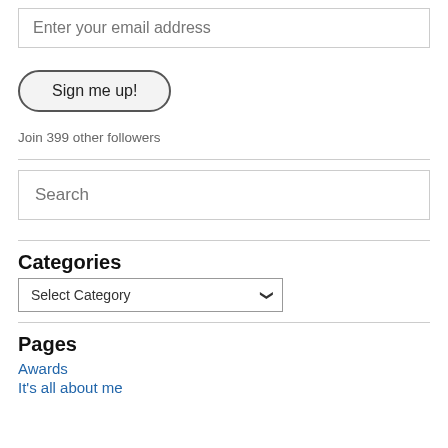Enter your email address
Sign me up!
Join 399 other followers
Search
Categories
Select Category
Pages
Awards
It's all about me